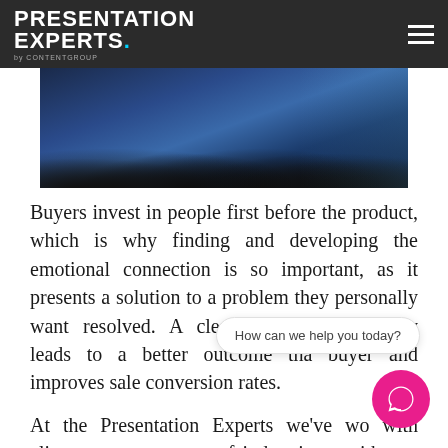PRESENTATION EXPERTS.
[Figure (photo): Conference audience seated at tables in a hall with blue ambient lighting and curtains in the background.]
Buyers invest in people first before the product, which is why finding and developing the emotional connection is so important, as it presents a solution to a problem they personally want resolved. A clear objective invariably leads to a better outcome tha buyer and improves sale conversion rates.
At the Presentation Experts we've wo with clients across a range of industries a with one thing in common, they need to